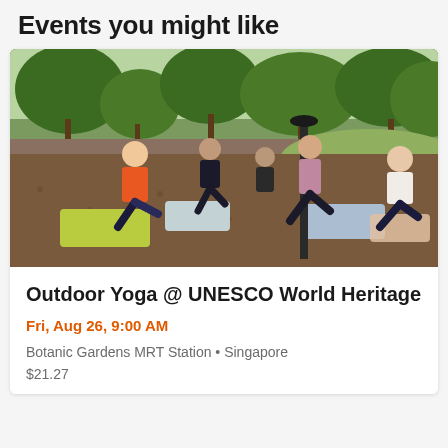Events you might like
[Figure (photo): Outdoor yoga class in a park setting. Several women on yoga mats doing a lunge exercise on a mulch path among trees. Green grass visible in background.]
Outdoor Yoga @ UNESCO World Heritage
Fri, Aug 26, 9:00 AM
Botanic Gardens MRT Station • Singapore
$21.27